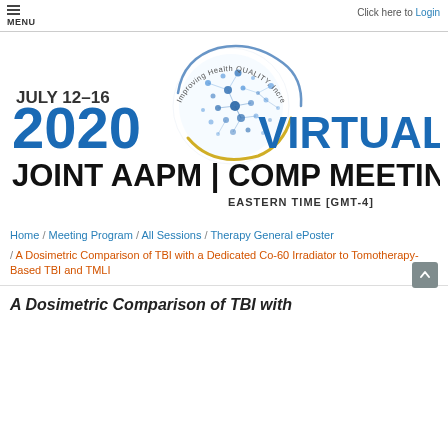MENU   Click here to Login
[Figure (logo): 2020 Virtual Joint AAPM | COMP Meeting logo. July 12-16 2020. Improving Health Quality, Increasing Global Impact. Eastern Time [GMT-4].]
Home / Meeting Program / All Sessions / Therapy General ePoster
/ A Dosimetric Comparison of TBI with a Dedicated Co-60 Irradiator to Tomotherapy-Based TBI and TMLI
A Dosimetric Comparison of TBI with